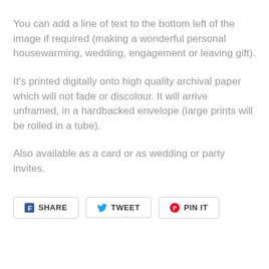You can add a line of text to the bottom left of the image if required (making a wonderful personal housewarming, wedding, engagement or leaving gift).
It's printed digitally onto high quality archival paper which will not fade or discolour. It will arrive unframed, in a hardbacked envelope (large prints will be rolled in a tube).
Also available as a card or as wedding or party invites.
[Figure (other): Social share buttons: Facebook SHARE, Twitter TWEET, Pinterest PIN IT]